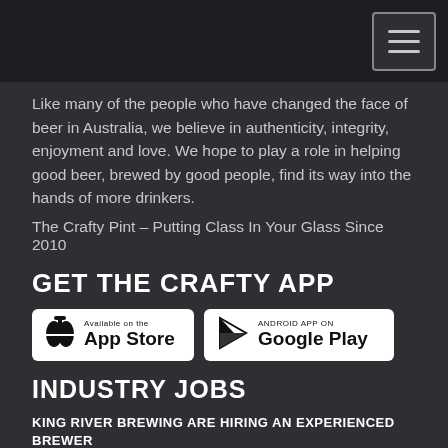Like many of the people who have changed the face of beer in Australia, we believe in authenticity, integrity, enjoyment and love. We hope to play a role in helping good beer, brewed by good people, find its way into the hands of more drinkers.
The Crafty Pint – Putting Class In Your Glass Since 2010
GET THE CRAFTY APP
[Figure (other): App Store and Google Play download badges]
INDUSTRY JOBS
KING RIVER BREWING ARE HIRING AN EXPERIENCED BREWER
King River Brewing brew in a stunning part of Victoria and are still riding high from an AIBA trophy...